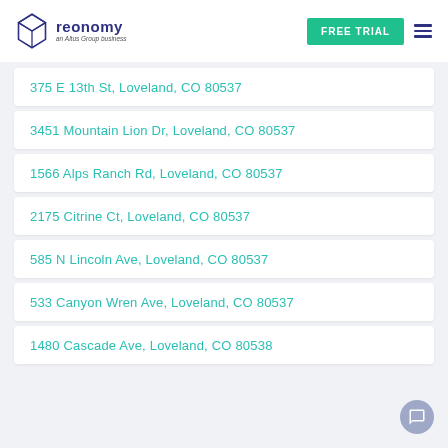[Figure (logo): Reonomy logo - geometric diamond shape with 'reonomy an Altus Group business' text]
375 E 13th St, Loveland, CO 80537
3451 Mountain Lion Dr, Loveland, CO 80537
1566 Alps Ranch Rd, Loveland, CO 80537
2175 Citrine Ct, Loveland, CO 80537
585 N Lincoln Ave, Loveland, CO 80537
533 Canyon Wren Ave, Loveland, CO 80537
1480 Cascade Ave, Loveland, CO 80538